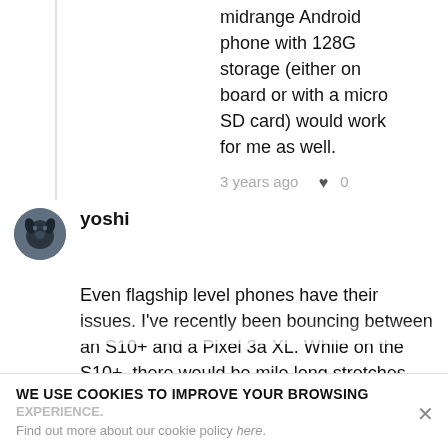midrange Android phone with 128G storage (either on board or with a micro SD card) would work for me as well.
3 years ago  ♥ 0
yoshi
Even flagship level phones have their issues. I've recently been bouncing between an S10+ and a Pixel 3a XL. While on the S10+, there would be mile long stretches where my services would drop during my commute. In these same stretches, while using the same SIM in the Pixel 3a XL, I have full services all the way
WE USE COOKIES TO IMPROVE YOUR BROWSING EXPERIENCE.
Find out more about our cookie policy here.